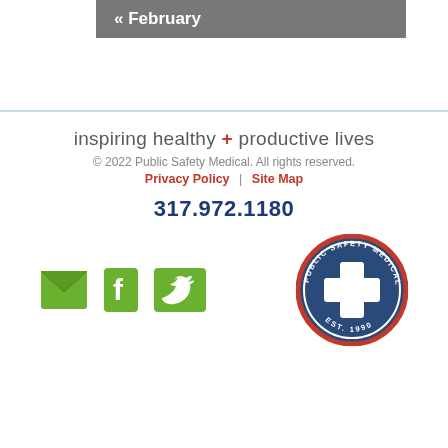« February
inspiring healthy + productive lives
© 2022 Public Safety Medical. All rights reserved.
Privacy Policy | Site Map
317.972.1180
[Figure (logo): Public Safety Medical circular badge logo with blue cross, red border, and EST. 1990 text]
[Figure (logo): Green social media icons: email envelope, Facebook F, Twitter bird]